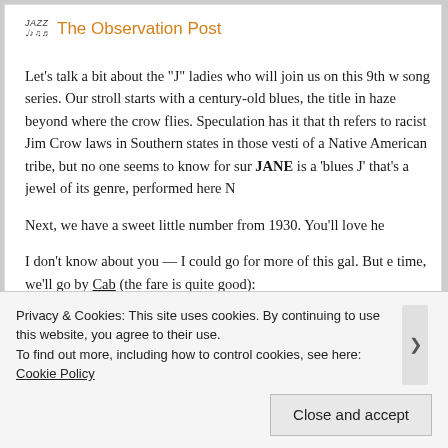The Observation Post
Let's talk a bit about the “J” ladies who will join us on this 9th w song series. Our stroll starts with a century-old blues, the title in haze beyond where the crow flies. Speculation has it that th refers to racist Jim Crow laws in Southern states in those vesti of a Native American tribe, but no one seems to know for sur JANE is a ‘blues J’ that’s a jewel of its genre, performed here N
Next, we have a sweet little number from 1930. You’ll love he
I don’t know about you — I could go for more of this gal. But e time, we’ll go by Cab (the fare is quite good):
Privacy & Cookies: This site uses cookies. By continuing to use this website, you agree to their use.
To find out more, including how to control cookies, see here: Cookie Policy
Close and accept